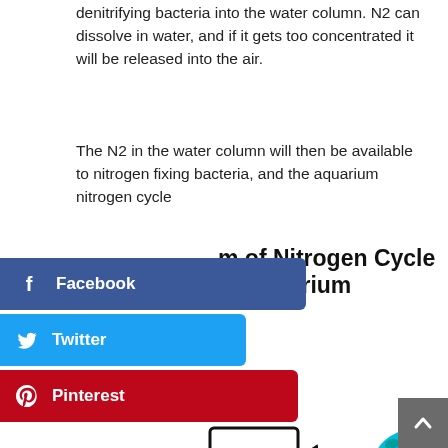denitrifying bacteria into the water column. N2 can dissolve in water, and if it gets too concentrated it will be released into the air.
The N2 in the water column will then be available to nitrogen fixing bacteria, and the aquarium nitrogen cycle
Diagram of Nitrogen Cycle in Aquarium
[Figure (infographic): Nitrogen cycle diagram showing Atmospheric Nitrogen (N2) in a box at center top, with arrows indicating Nitrogen Fixation (downward-left arrow to NH3/NH4+), Denitrification (upward-right arrow from NO3-), NH3 (Ammonia) connected to NH4+ (Ammonium) with double arrow, and NO3- (Nitrate) at bottom right. A teal bacterium illustration appears top right. Social share overlay buttons for Facebook, Twitter, Pinterest, LinkedIn appear on the left side.]